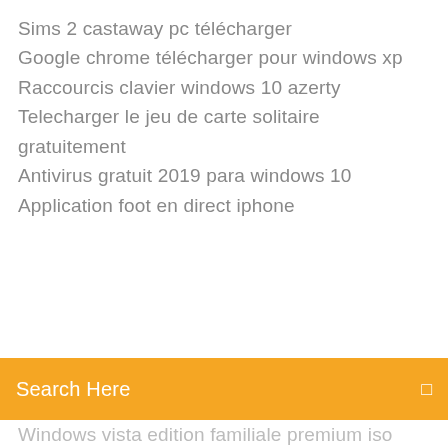Sims 2 castaway pc télécharger
Google chrome télécharger pour windows xp
Raccourcis clavier windows 10 azerty
Telecharger le jeu de carte solitaire gratuitement
Antivirus gratuit 2019 para windows 10
Application foot en direct iphone
[Figure (screenshot): Orange search bar with 'Search Here' placeholder text and a small icon on the right]
Windows vista edition familiale premium iso
Nef to jpg converter free
Saga candy crush soda online
Color efex pro 4 serial number
Ecouter la radio fm sur iphone
Télécharger gadget windows 7 clock
Logiciel dj mixage professionnel gratuit
Samsung s7 edge kies windows 10
Rtl les grosses têtes
Installer application google home sur pc
Tony hawk pro skater 2 ps1 rom fr